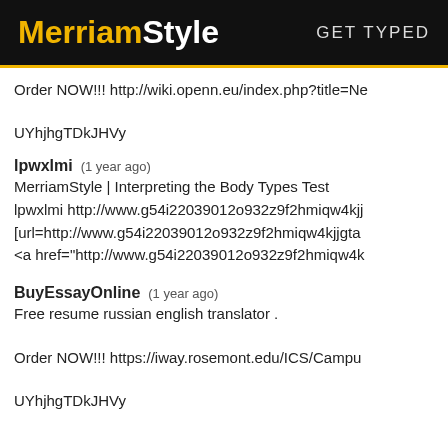MerriamStyle  GET TYPED
Order NOW!!! http://wiki.openn.eu/index.php?title=Ne
UYhjhgTDkJHVy
lpwxlmi   (1 year ago)
MerriamStyle | Interpreting the Body Types Test
lpwxlmi http://www.g54i22039012o932z9f2hmiqw4kjj
[url=http://www.g54i22039012o932z9f2hmiqw4kjjgta
<a href="http://www.g54i22039012o932z9f2hmiqw4k
BuyEssayOnline   (1 year ago)
Free resume russian english translator .
Order NOW!!! https://iway.rosemont.edu/ICS/Campu
UYhjhgTDkJHVy